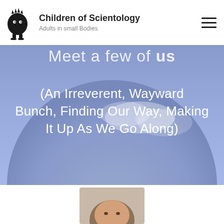Children of Scientology
Adults in small Bodies
Meet a few of us
(An Irreverent, Wayward Bunch, Finding Our Way, Making It Up As We Go Along)
[Figure (photo): Partial view of a person's face/head at the bottom of the page, peeking up from below]